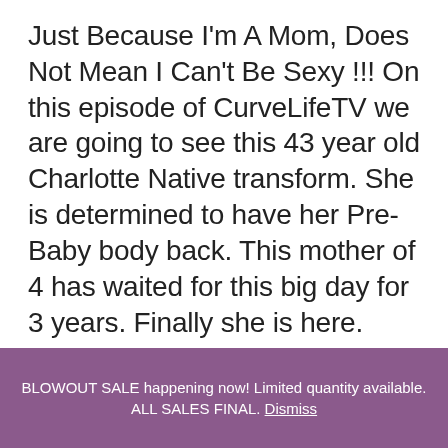Just Because I'm A Mom, Does Not Mean I Can't Be Sexy !!! On this episode of CurveLifeTV we are going to see this 43 year old Charlotte Native transform. She is determined to have her Pre-Baby body back. This mother of 4 has waited for this big day for 3 years. Finally she is here.
BLOWOUT SALE happening now! Limited quantity available. ALL SALES FINAL. Dismiss